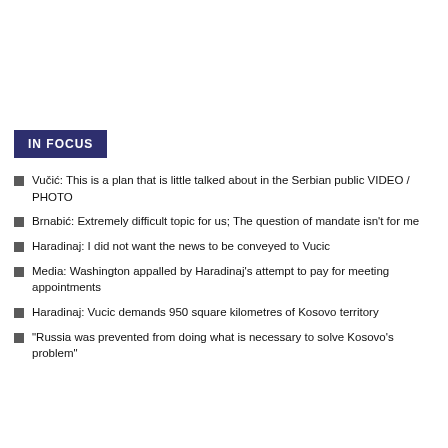IN FOCUS
Vučić: This is a plan that is little talked about in the Serbian public VIDEO / PHOTO
Brnabić: Extremely difficult topic for us; The question of mandate isn't for me
Haradinaj: I did not want the news to be conveyed to Vucic
Media: Washington appalled by Haradinaj's attempt to pay for meeting appointments
Haradinaj: Vucic demands 950 square kilometres of Kosovo territory
"Russia was prevented from doing what is necessary to solve Kosovo's problem"